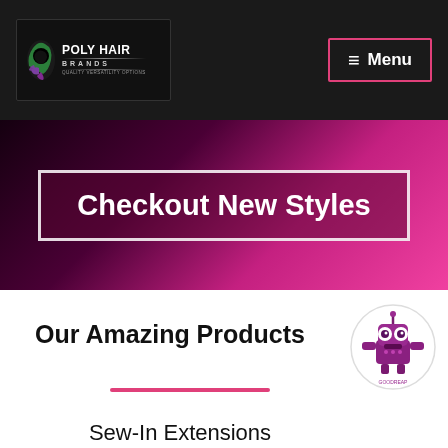POLY HAIR BRANDS — Quality Versatility Options | Menu
Checkout New Styles
Our Amazing Products
[Figure (illustration): Cartoon robot mascot icon in purple/pink color]
Sew-In Extensions